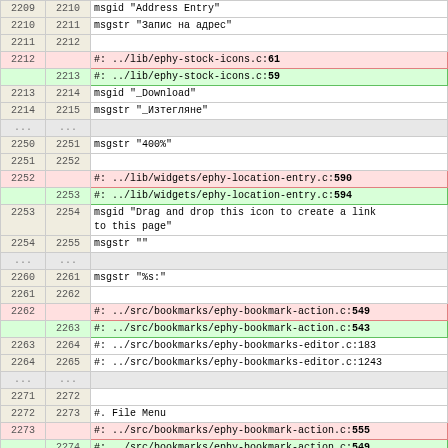| old | new | content |
| --- | --- | --- |
| 2209 | 2210 | msgid "Address Entry" |
| 2210 | 2211 | msgstr "Запис на адрес" |
| 2211 | 2212 |  |
| 2212 |  | #: ../lib/ephy-stock-icons.c:61 |
|  | 2213 | #: ../lib/ephy-stock-icons.c:59 |
| 2213 | 2214 | msgid "_Download" |
| 2214 | 2215 | msgstr "_Изтегляне" |
| ... | ... |  |
| 2250 | 2251 | msgstr "400%" |
| 2251 | 2252 |  |
| 2252 |  | #: ../lib/widgets/ephy-location-entry.c:590 |
|  | 2253 | #: ../lib/widgets/ephy-location-entry.c:594 |
| 2253 | 2254 | msgid "Drag and drop this icon to create a link
to this page" |
| 2254 | 2255 | msgstr "" |
| ... | ... |  |
| 2260 | 2261 | msgstr "%s:" |
| 2261 | 2262 |  |
| 2262 |  | #: ../src/bookmarks/ephy-bookmark-action.c:549 |
|  | 2263 | #: ../src/bookmarks/ephy-bookmark-action.c:543 |
| 2263 | 2264 | #: ../src/bookmarks/ephy-bookmarks-editor.c:183 |
| 2264 | 2265 | #: ../src/bookmarks/ephy-bookmarks-editor.c:1243 |
| ... | ... |  |
| 2271 | 2272 |  |
| 2272 | 2273 | #. File Menu |
| 2273 |  | #: ../src/bookmarks/ephy-bookmark-action.c:555 |
|  | 2274 | #: ../src/bookmarks/ephy-bookmark-action.c:549 |
| 2274 | 2275 | #: ../src/bookmarks/ephy-bookmarks-editor.c:180 |
| 2275 | 2276 | #: ../src/bookmarks/ephy-bookmarks-editor.c:1240 |
| ... | ... |  |
| 2280 | 2281 | msgstr[1] "Отваряне в нови _прозорци" |
| 2281 | 2282 |  |